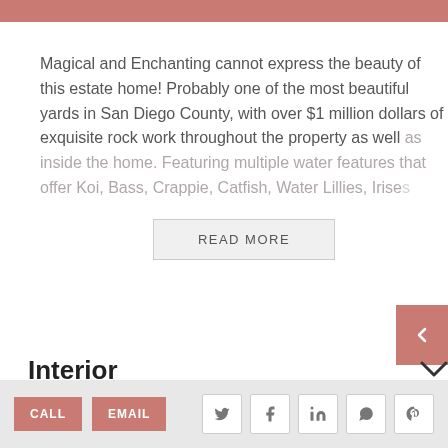Magical and Enchanting cannot express the beauty of this estate home! Probably one of the most beautiful yards in San Diego County, with over $1 million dollars of exquisite rock work throughout the property as well as inside the home. Featuring multiple water features that offer Koi, Bass, Crappie, Catfish, Water Lillies, Irises
READ MORE
Interior
CALL  EMAIL  [social icons: Twitter, Facebook, LinkedIn, WhatsApp, Pinterest]